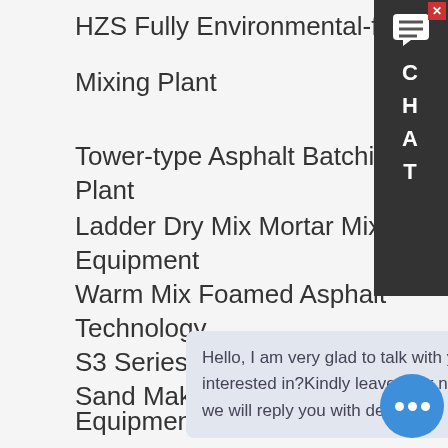HZS Fully Environmental-friendly Commercial Concrete Mixing Plant
Tower-type Asphalt Batching Plant
Ladder Dry Mix Mortar Mixing Equipment
Warm Mix Foamed Asphalt Technology
S3 Series Dry-type Shaping and Sand Making Equipment
SITE NAV
Home
Products
Mixing Plant
About
Contact Us
Hello, I am very glad to talk with you!Which equipment are you interested in?Kindly leave your name and email & equipment inquiry, we will reply you with detail.